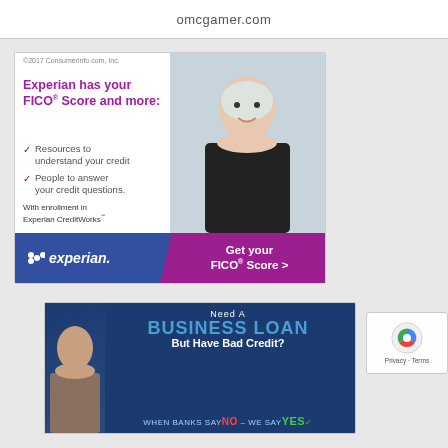[Figure (other): Top bar snippet showing 'omcgamer.com' URL text fragment]
[Figure (other): Experian advertisement banner: 'Experian has your FICO Score and more' with checkmarks for Resources to understand your credit and People to answer your credit questions. With enrollment in Experian CreditWorks. Blue footer bar with Experian logo and purple CTA 'Get your FICO Score >']
[Figure (other): Business loan advertisement: 'Need A BUSINESS LOAN But Have Bad Credit? WHEN BANKS SAY NO - WE SAY YES' on dark blue background with man's photo]